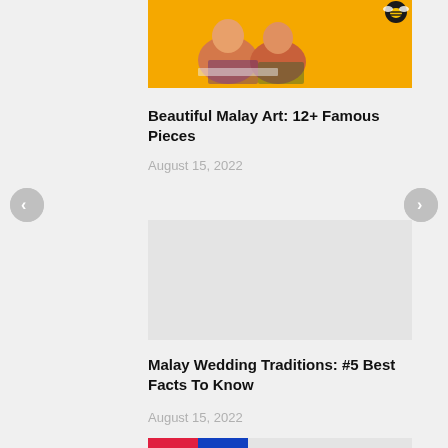[Figure (illustration): Colorful Malay art illustration on a yellow/orange background with a cartoon bee icon in the top right corner]
Beautiful Malay Art: 12+ Famous Pieces
August 15, 2022
[Figure (photo): Image placeholder for Malay Wedding Traditions article (gray/empty)]
Malay Wedding Traditions: #5 Best Facts To Know
August 15, 2022